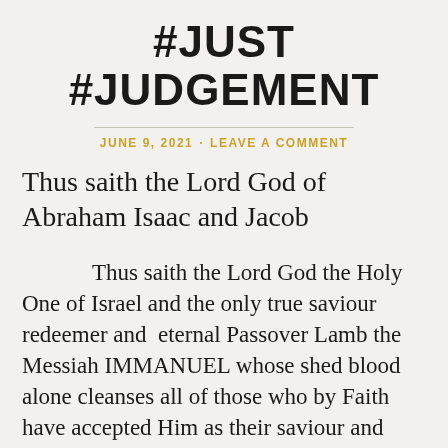#JUST #JUDGEMENT
JUNE 9, 2021 · LEAVE A COMMENT
Thus saith the Lord God of Abraham Isaac and Jacob
Thus saith the Lord God the Holy One of Israel and the only true saviour redeemer and  eternal Passover Lamb the Messiah IMMANUEL whose shed blood alone cleanses all of those who by Faith have accepted Him as their saviour and redeemer of all their sins crimes